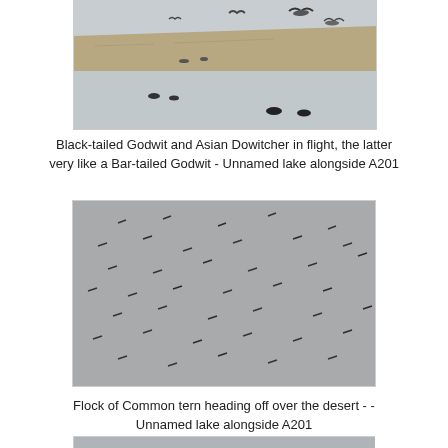[Figure (photo): Partial photo of Black-tailed Godwit and Asian Dowitcher in flight over a sandy lake shore with water, birds visible in flight and on the ground.]
Black-tailed Godwit and Asian Dowitcher in flight, the latter very like a Bar-tailed Godwit - Unnamed lake alongside A201
[Figure (photo): Photo of a flock of Common terns in flight seen as small dark specks scattered across a grey/overcast sky above desert.]
Flock of Common tern heading off over the desert - - Unnamed lake alongside A201
[Figure (photo): Partial photo at bottom of page, partially cut off.]